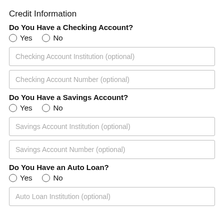Credit Information
Do You Have a Checking Account?
○ Yes  ○ No
Checking Account Institution (optional)
Checking Account Number (optional)
Do You Have a Savings Account?
○ Yes  ○ No
Savings Account Institution (optional)
Savings Account Number (optional)
Do You Have an Auto Loan?
○ Yes  ○ No
Auto Loan Institution (optional)